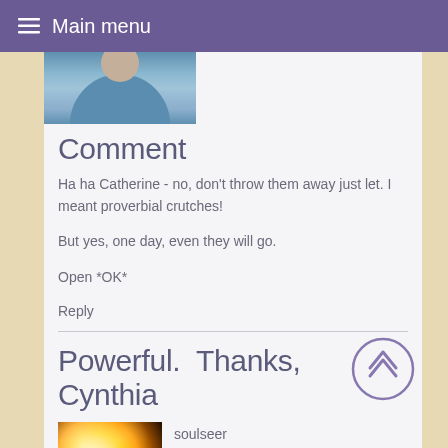≡ Main menu
[Figure (photo): Cropped profile photo showing a person in a blue jacket, partially visible at the top of the page]
Comment
Ha ha Catherine - no, don't throw them away just let. I meant proverbial crutches!
But yes, one day, even they will go.
Open *OK*
Reply
Powerful.  Thanks,  Cynthia
[Figure (photo): Small avatar photo showing a bright sunburst/lens flare effect with golden light]
soulseer
Wed, 02/25/2015 - 13:42